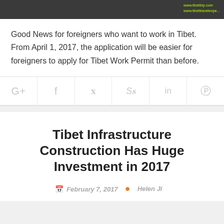[Figure (photo): Dark banner image at top with website URLs www.tibettrip.com and www.tibettravelexpe... overlaid in yellow-green text on the right side]
Good News for foreigners who want to work in Tibet. From April 1, 2017, the application will be easier for foreigners to apply for Tibet Work Permit than before.
[Figure (infographic): Social sharing bar with icons: Google+, Facebook, Twitter, StumbleUpon, LinkedIn, Pinterest — all in light gray]
Tibet Infrastructure Construction Has Huge Investment in 2017
February 7, 2017  •  Helen Jing